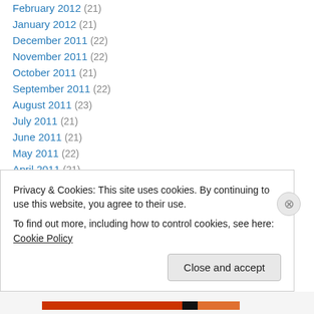February 2012 (21)
January 2012 (21)
December 2011 (22)
November 2011 (22)
October 2011 (21)
September 2011 (22)
August 2011 (23)
July 2011 (21)
June 2011 (21)
May 2011 (22)
April 2011 (21)
March 2011 (23)
February 2011 (20)
January 2011 (20)
Privacy & Cookies: This site uses cookies. By continuing to use this website, you agree to their use.
To find out more, including how to control cookies, see here: Cookie Policy